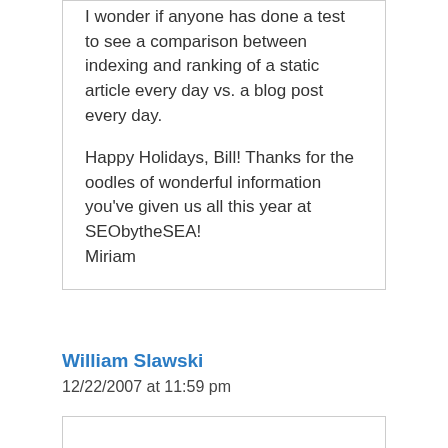I wonder if anyone has done a test to see a comparison between indexing and ranking of a static article every day vs. a blog post every day.

Happy Holidays, Bill! Thanks for the oodles of wonderful information you've given us all this year at SEObytheSEA!
Miriam
William Slawski
12/22/2007 at 11:59 pm